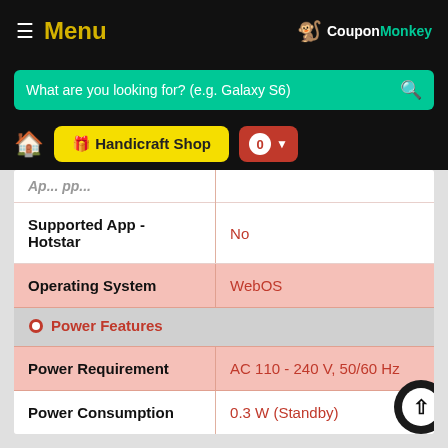Menu | CouponMonkey
What are you looking for? (e.g. Galaxy S6)
🏠 Handicraft Shop | 0 ▾
| Feature | Value |
| --- | --- |
|  |  |
| Supported App - Hotstar | No |
| Operating System | WebOS |
| Power Features |  |
| Power Requirement | AC 110 - 240 V, 50/60 Hz |
| Power Consumption | 0.3 W (Standby) |